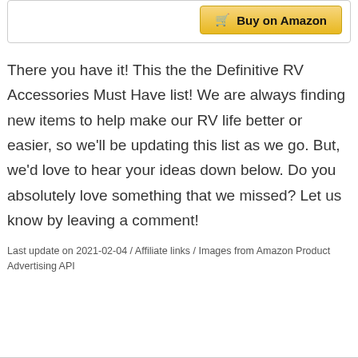[Figure (other): Buy on Amazon button with shopping cart icon, golden/yellow gradient background]
There you have it! This the the Definitive RV Accessories Must Have list! We are always finding new items to help make our RV life better or easier, so we'll be updating this list as we go. But, we'd love to hear your ideas down below. Do you absolutely love something that we missed? Let us know by leaving a comment!
Last update on 2021-02-04 / Affiliate links / Images from Amazon Product Advertising API